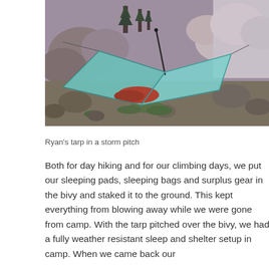[Figure (photo): A teal/turquoise tarp pitched in a storm pitch configuration among rocky mountain terrain with boulders, sparse vegetation, and coniferous trees in the background. A red sleeping bag or pack is visible underneath the tarp.]
Ryan's tarp in a storm pitch
Both for day hiking and for our climbing days, we put our sleeping pads, sleeping bags and surplus gear in the bivy and staked it to the ground. This kept everything from blowing away while we were gone from camp. With the tarp pitched over the bivy, we had a fully weather resistant sleep and shelter setup in camp. When we came back our